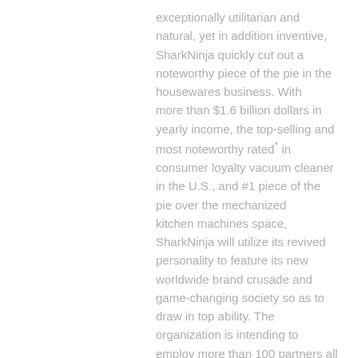exceptionally utilitarian and natural, yet in addition inventive, SharkNinja quickly cut out a noteworthy piece of the pie in the housewares business. With more than $1.6 billion dollars in yearly income, the top-selling and most noteworthy rated* in consumer loyalty vacuum cleaner in the U.S., and #1 piece of the pie over the mechanized kitchen machines space, SharkNinja will utilize its revived personality to feature its new worldwide brand crusade and game-changing society so as to draw in top ability. The organization is intending to employ more than 100 partners all around in the following 90 days.